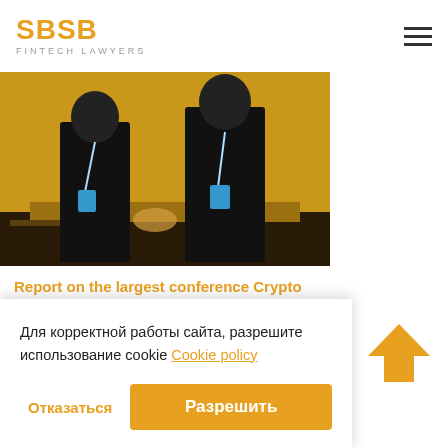SBSB FINTECH LAWYERS
[Figure (photo): Two people in dark clothing standing at a conference booth with yellow background, holding lanyard badges]
Report on the largest conference Crypto Event RIW with the SBSB team
[Figure (photo): Outdoor photo with blue sky and poles or masts visible]
Для корректной работы сайта, разрешите использование cookie Cookie policy
Отказаться
Разрешить